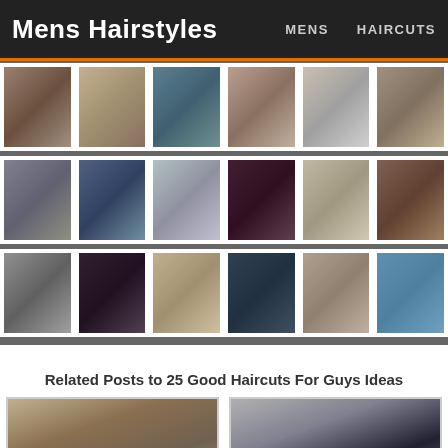Mens Hairstyles | MENS  HAIRCUTS
[Figure (photo): Grid of mens hairstyle photos - row 1: 6 portrait photos of men with various short haircuts]
[Figure (photo): Grid of mens hairstyle photos - row 2: 6 portrait photos of men with various short haircuts]
[Figure (photo): Grid of mens hairstyle photos - row 3: 6 portrait photos of men with various short haircuts]
Related Posts to 25 Good Haircuts For Guys Ideas
[Figure (photo): Close-up photo of man with buzz cut / very short fade haircut]
[Figure (photo): Close-up photo of man with slicked side part haircut with fade]